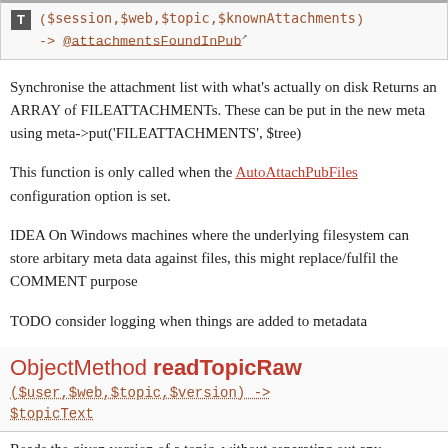($session,$web,$topic,$knownAttachments) -> @attachmentsFoundInPub
Synchronise the attachment list with what's actually on disk Returns an ARRAY of FILEATTACHMENTs. These can be put in the new meta using meta->put('FILEATTACHMENTS', $tree)
This function is only called when the AutoAttachPubFiles configuration option is set.
IDEA On Windows machines where the underlying filesystem can store arbitary meta data against files, this might replace/fulfil the COMMENT purpose
TODO consider logging when things are added to metadata
ObjectMethod readTopicRaw ($user,$web,$topic,$version) -> $topicText
Reads the given version of a topic, without separating out any embedded meta-data. If the version is undef, then read the